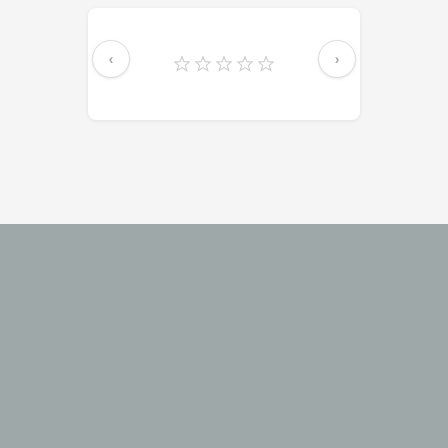[Figure (screenshot): Navigation card with left and right arrow buttons and five stars rating displayed in the center]
[Figure (logo): PowerSlides logo with orange/tan geometric square icon and bold white text 'PowerSlides' on gray background]
We believe in inspiring professionals through creative design that add significant value to presentations. Browse through our collection of 1000's of purpose-built templates.